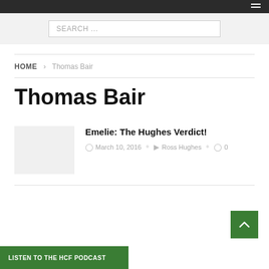SEARCH ...
HOME > Thomas Bair
Thomas Bair
Emelie: The Hughes Verdict!
March 10, 2016  Ross Hughes  0
LISTEN TO THE HCF PODCAST